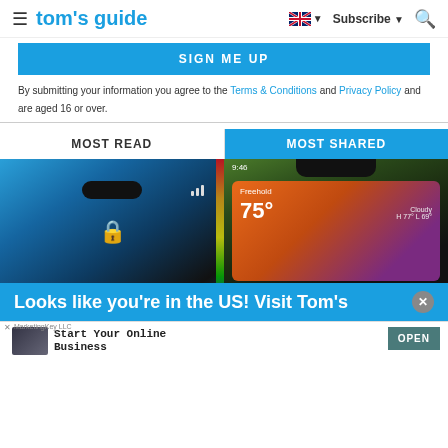tom's guide — Subscribe — Search
[Figure (screenshot): Blue SIGN ME UP button]
By submitting your information you agree to the Terms & Conditions and Privacy Policy and are aged 16 or over.
MOST READ | MOST SHARED
[Figure (photo): Two iPhones side by side — left showing Dynamic Island close-up with lock screen at 9:41, right showing weather app with 75° and app icons]
Looks like you're in the US! Visit Tom's
[Figure (screenshot): Ad banner: MarketingKey LLC — Start Your Online Business — OPEN button]